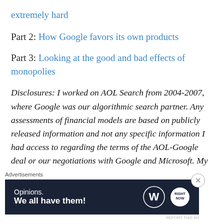extremely hard
Part 2: How Google favors its own products
Part 3: Looking at the good and bad effects of monopolies
Disclosures: I worked on AOL Search from 2004-2007, where Google was our algorithmic search partner. Any assessments of financial models are based on publicly released information and not any specific information I had access to regarding the terms of the AOL-Google deal or our negotiations with Google and Microsoft. My brother is currently employed by Google and I have many friends there. I went to high school with Google CEO Larry Page.
[Figure (infographic): Advertisement banner with dark navy background. Text reads 'Opinions. We all have them!' with WordPress logo and another logo on the right.]